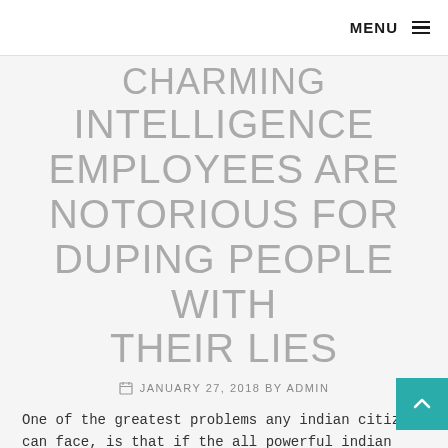MENU ☰
CHARMING INTELLIGENCE EMPLOYEES ARE NOTORIOUS FOR DUPING PEOPLE WITH THEIR LIES
JANUARY 27, 2018 BY ADMIN
One of the greatest problems any indian citizen can face, is that if the all powerful indian intelligence and security agencies decide to destroy their life. Most people and the indian media will not even discuss this aspect, however